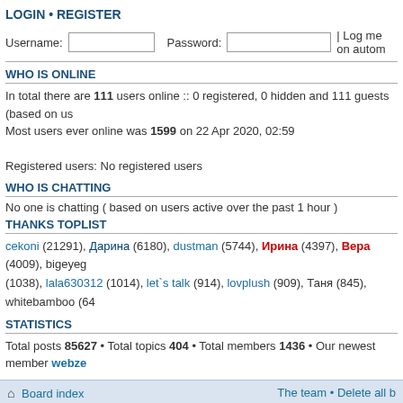LOGIN • REGISTER
Username:  Password:  | Log me on autom
WHO IS ONLINE
In total there are 111 users online :: 0 registered, 0 hidden and 111 guests (based on us
Most users ever online was 1599 on 22 Apr 2020, 02:59

Registered users: No registered users
WHO IS CHATTING
No one is chatting ( based on users active over the past 1 hour )
THANKS TOPLIST
cekoni (21291), Дарина (6180), dustman (5744), Ирина (4397), Вера (4009), bigeyege (1038), lala630312 (1014), let`s talk (914), lovplush (909), Таня (845), whitebamboo (64
STATISTICS
Total posts 85627 • Total topics 404 • Total members 1436 • Our newest member webze
Board index   The team • Delete all b
Евгений Плющенко©
[Figure (screenshot): Three badge/rating images: a purple stats badge, a Rambler Top 100 badge, and a partial rating icon]